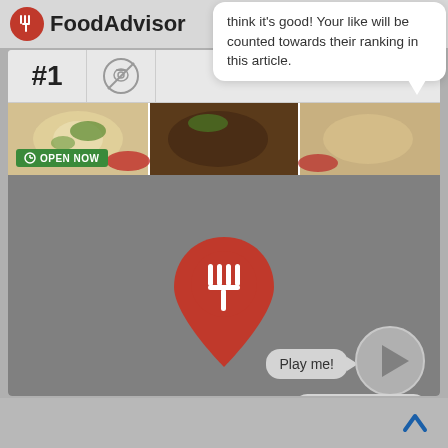[Figure (logo): FoodAdvisor app logo — red circle with fork icon and bold text 'FoodAdvisor']
think it's good! Your like will be counted towards their ranking in this article.
#1
172 LIKES
OPEN NOW
[Figure (screenshot): FoodAdvisor app screenshot showing restaurant card with food images, #1 ranking, 172 likes, Open Now badge, large FoodAdvisor pin logo on grey background, Play me button, Leave a comment button]